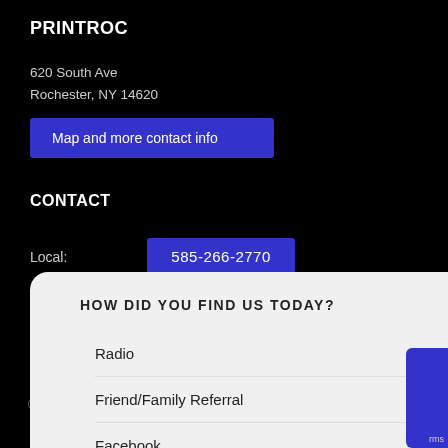PRINTROC
620 South Ave
Rochester, NY 14620
Map and more contact info
CONTACT
Local:  585-266-2770
F
HOW DID YOU FIND US TODAY?
Radio
Friend/Family Referral
Facebook
Other (please specify)
SUBMIT